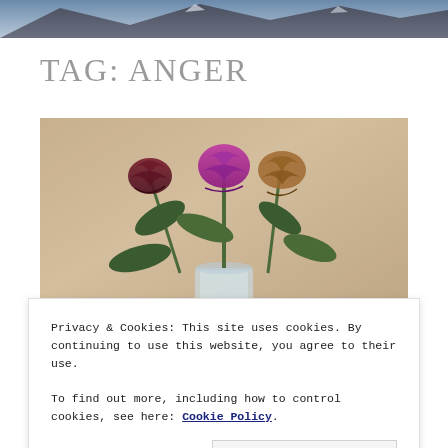[Figure (photo): Header photo showing mountain/landscape scene, partially cropped at top of page]
TAG: ANGER
[Figure (photo): Photo of dying/wilted roses in a glass vase against a beige/tan background]
Privacy & Cookies: This site uses cookies. By continuing to use this website, you agree to their use.
To find out more, including how to control cookies, see here: Cookie Policy
Close and accept
COVID GRIEF